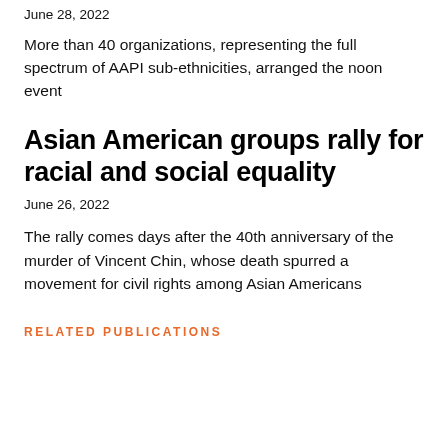June 28, 2022
More than 40 organizations, representing the full spectrum of AAPI sub-ethnicities, arranged the noon event
Asian American groups rally for racial and social equality
June 26, 2022
The rally comes days after the 40th anniversary of the murder of Vincent Chin, whose death spurred a movement for civil rights among Asian Americans
RELATED PUBLICATIONS